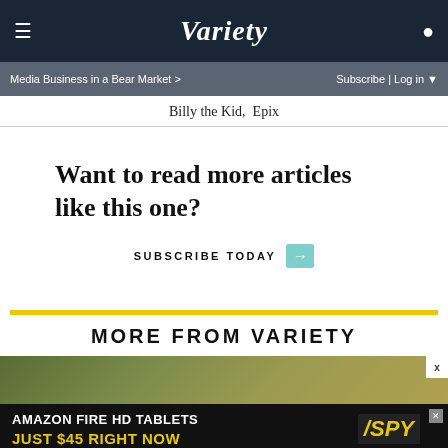VARIETY — Media Business in a Bear Market > | Subscribe | Log in
Billy the Kid,  Epix
Want to read more articles like this one?
SUBSCRIBE TODAY →
MORE FROM VARIETY
[Figure (photo): Thumbnail image strip at bottom of page]
[Figure (photo): Advertisement banner: AMAZON FIRE HD TABLETS JUST $45 RIGHT NOW / SPY]